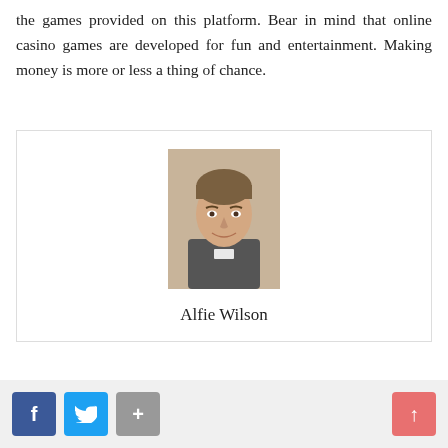the games provided on this platform. Bear in mind that online casino games are developed for fun and entertainment. Making money is more or less a thing of chance.
[Figure (photo): Headshot photo of a man in a clerical collar wearing a grey sweater, smiling, with light brown hair]
Alfie Wilson
[Figure (infographic): Social sharing bar with Facebook (blue), Twitter (cyan), and plus (grey) buttons on the left, and an upward arrow button (salmon/red) on the right]